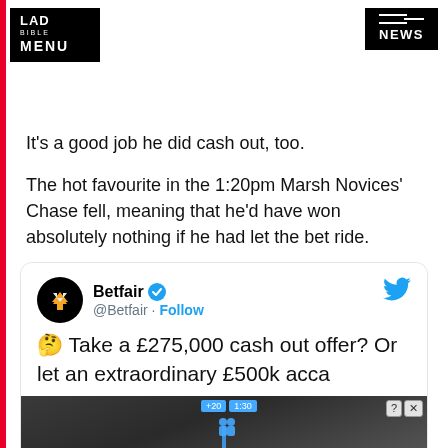LAD BIBLE MENU | NEWS
It's a good job he did cash out, too.
The hot favourite in the 1:20pm Marsh Novices' Chase fell, meaning that he'd have won absolutely nothing if he had let the bet ride.
[Figure (screenshot): Embedded tweet from @Betfair with verified badge and Follow button. Tweet text: '🤔 Take a £275,000 cash out offer? Or let an extraordinary £500k acca'. Below the text is a partially visible tweet image showing a dark road scene with 'Hold and Move' label and an ad overlay with ? and X buttons and +20 / 1:30 progress indicators.]